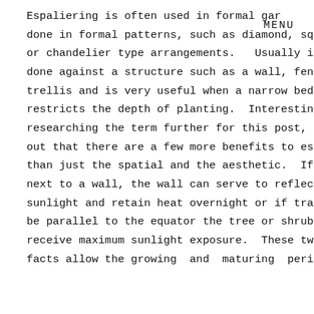Espaliering is often used in formal gar done in formal patterns, such as diamond, square or chandelier type arrangements. Usually it is done against a structure such as a wall, fence, or trellis and is very useful when a narrow bed restricts the depth of planting. Interestingly, in researching the term further for this post, I found out that there are a few more benefits to espalier than just the spatial and the aesthetic. If planted next to a wall, the wall can serve to reflect more sunlight and retain heat overnight or if trained to be parallel to the equator the tree or shrub can receive maximum sunlight exposure. These two facts allow the growing and maturing period of
MENU